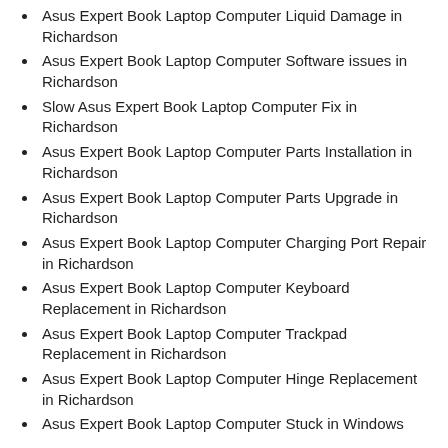Asus Expert Book Laptop Computer Liquid Damage in Richardson
Asus Expert Book Laptop Computer Software issues in Richardson
Slow Asus Expert Book Laptop Computer Fix in Richardson
Asus Expert Book Laptop Computer Parts Installation in Richardson
Asus Expert Book Laptop Computer Parts Upgrade in Richardson
Asus Expert Book Laptop Computer Charging Port Repair in Richardson
Asus Expert Book Laptop Computer Keyboard Replacement in Richardson
Asus Expert Book Laptop Computer Trackpad Replacement in Richardson
Asus Expert Book Laptop Computer Hinge Replacement in Richardson
Asus Expert Book Laptop Computer Stuck in Windows